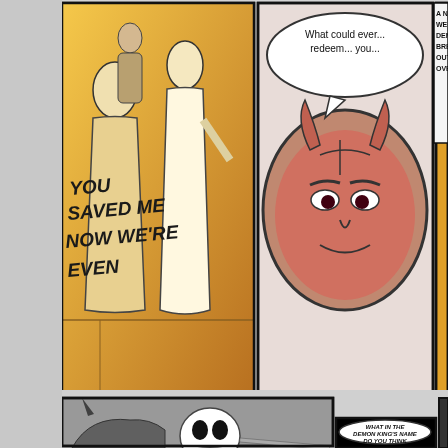[Figure (illustration): Comic book page showing six panels: top-left orange-tinted panel with two figures and handwritten text 'YOU SAVED ME NOW WE'RE EVEN'; top-middle oval panel showing a red demon face with speech bubble 'What could ever... redeem... you...'; top-right orange-tinted panel with two figures and speech bubble text 'A NEW PLAN A... WE BREAK IN TO THE DEMON KING'S PAD... BREAK THE GOODNESS OUT AND DUMP IT ALL OVER THE PLACE...'; bottom-left black and white panel showing a monster/creature face-off; bottom-middle black panel with demon character and speech bubble 'WHAT IN THE DEMON KING'S NAME DO YOU THINK YOU ARE DOING?'; bottom-right dark panel showing a figure with lightning/energy effects and a signature.]